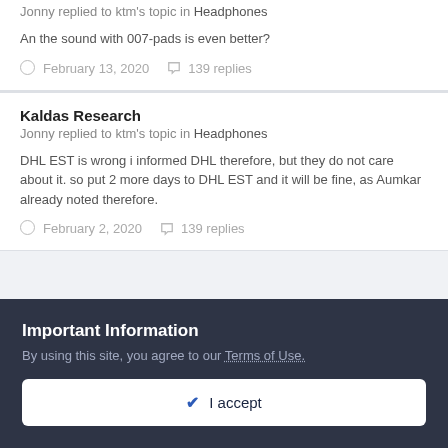Jonny replied to ktm's topic in Headphones
An the sound with 007-pads is even better?
February 13, 2020  139 replies
Kaldas Research
Jonny replied to ktm's topic in Headphones
DHL EST is wrong i informed DHL therefore, but they do not care about it. so put 2 more days to DHL EST and it will be fine, as Aumkar already noted therefore.
February 2, 2020  139 replies
Important Information
By using this site, you agree to our Terms of Use.
✔ I accept